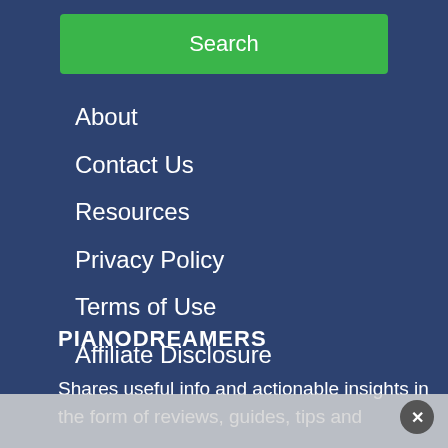Search
About
Contact Us
Resources
Privacy Policy
Terms of Use
Affiliate Disclosure
PIANODREAMERS
Shares useful info and actionable insights in the form of reviews, guides, tips and